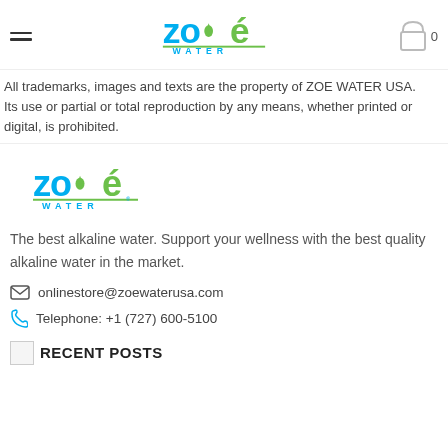Zoé Water header navigation with hamburger menu, logo, and cart icon showing 0
All trademarks, images and texts are the property of ZOE WATER USA. Its use or partial or total reproduction by any means, whether printed or digital, is prohibited.
[Figure (logo): Zoé Water logo — blue and green stylized text with water drop]
The best alkaline water. Support your wellness with the best quality alkaline water in the market.
onlinestore@zoewaterusa.com
Telephone: +1 (727) 600-5100
RECENT POSTS